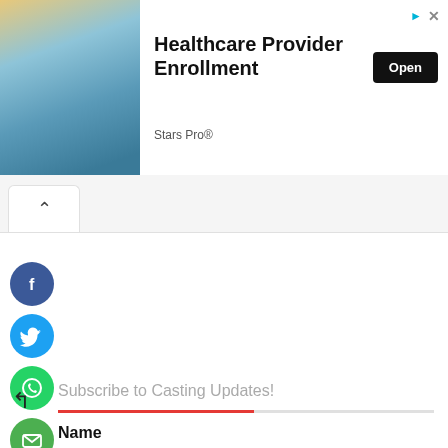[Figure (screenshot): Advertisement banner for Healthcare Provider Enrollment by Stars Pro with Open button and close/ad icons]
[Figure (screenshot): Tab row with chevron up button on white tab]
[Figure (infographic): Vertical column of social sharing icons: Facebook (blue circle), Twitter (blue circle), WhatsApp (green circle), Email (green circle)]
[Figure (screenshot): Back arrow icon]
Subscribe to Casting Updates!
[Figure (infographic): Progress/divider bar with red left portion and gray right portion]
Name